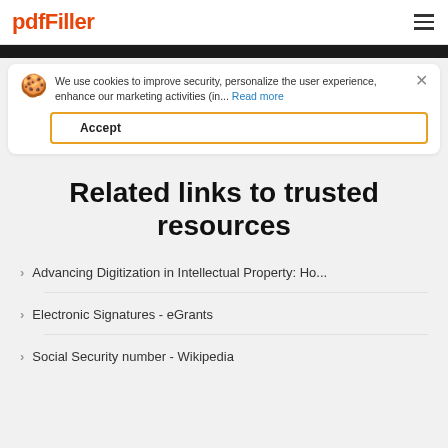pdfFiller
We use cookies to improve security, personalize the user experience, enhance our marketing activities (in... Read more
Accept
Related links to trusted resources
Advancing Digitization in Intellectual Property: Ho...
Electronic Signatures - eGrants
Social Security number - Wikipedia